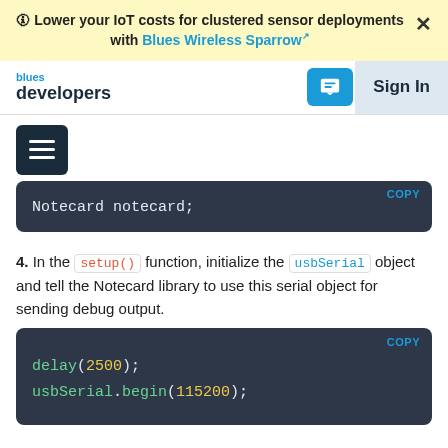🛈 Lower your IoT costs for clustered sensor deployments with Blues Wireless Sparrow ×
blues developers | Sign In
[Figure (other): Hamburger menu button (dark navy, three white lines)]
Notecard notecard;
4. In the setup() function, initialize the usbSerial object and tell the Notecard library to use this serial object for sending debug output.
delay(2500);
usbSerial.begin(115200);